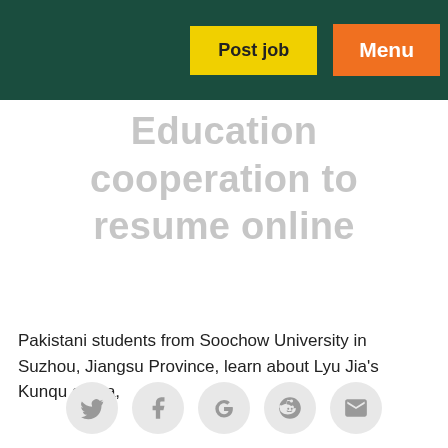Post job | Menu
Education cooperation to resume online
Pakistani students from Soochow University in Suzhou, Jiangsu Province, learn about Lyu Jia's Kunqu opera,
[Figure (infographic): Social sharing icons: Twitter, Facebook, Google+, Reddit, Email]